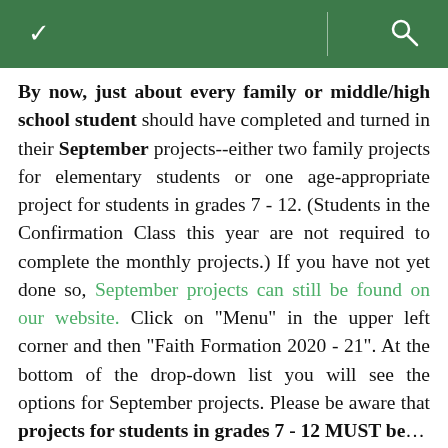By now, just about every family or middle/high school student should have completed and turned in their September projects--either two family projects for elementary students or one age-appropriate project for students in grades 7 - 12. (Students in the Confirmation Class this year are not required to complete the monthly projects.) If you have not yet done so, September projects can still be found on our website. Click on "Menu" in the upper left corner and then "Faith Formation 2020 - 21". At the bottom of the drop-down list you will see the options for September projects. Please be aware that projects for students in grades 7 - 12 MUST be...